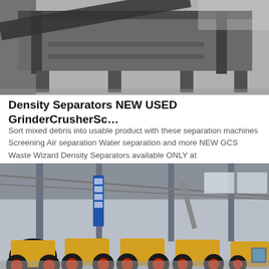[Figure (photo): Photo of a large industrial metal frame/screen separator machine on a concrete floor, black and white tones.]
Density Separators NEW USED GrinderCrusherSc…
Sort mixed debris into usable product with these separation machines Screening Air separation Water separation and more NEW GCS Waste Wizard Density Separators available ONLY at GrinderCrusherScreen
[Figure (photo): Photo of a large industrial warehouse/factory floor with multiple yellow and black jaw crusher machines lined up, with structural steel columns and roof visible.]